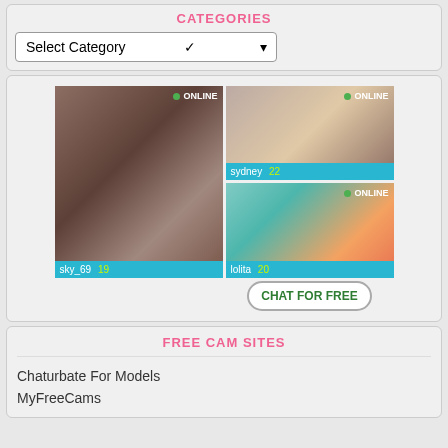CATEGORIES
Select Category
[Figure (photo): Webcam chat advertisement with three profile photos labeled sky_69 age 19, sydney age 22, lolita age 20, each showing ONLINE status badge and a CHAT FOR FREE button]
FREE CAM SITES
Chaturbate For Models
MyFreeCams